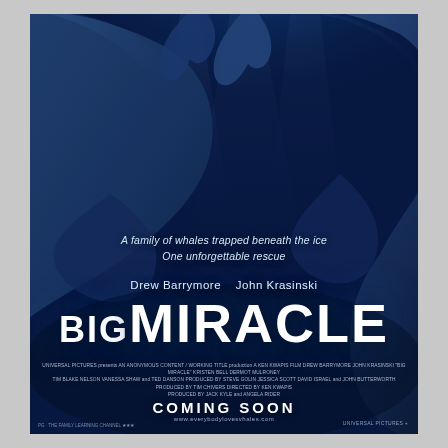[Figure (photo): Movie poster for 'Big Miracle' featuring close-up underwater view of two gray whales against a deep blue background. The poster shows Drew Barrymore and John Krasinski as stars. Tagline reads 'A family of whales trapped beneath the ice / One unforgettable rescue'. Large bold title 'BIG MIRACLE' in white. Credits block at bottom with 'COMING SOON' and website www.everybodylovesvhales.com]